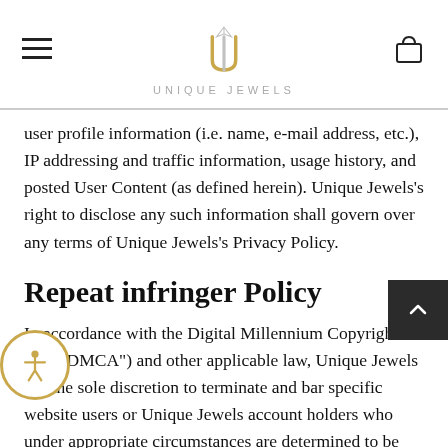Unique Jewels
user profile information (i.e. name, e-mail address, etc.), IP addressing and traffic information, usage history, and posted User Content (as defined herein). Unique Jewels’s right to disclose any such information shall govern over any terms of Unique Jewels’s Privacy Policy.
Repeat infringer Policy
In accordance with the Digital Millennium Copyright Act ("DMCA") and other applicable law, Unique Jewels has the sole discretion to terminate and bar specific website users or Unique Jewels account holders who under appropriate circumstances are determined to be repeat infringers. Unique Jewels further reserves the right to limit access to this website and/or terminate the account of